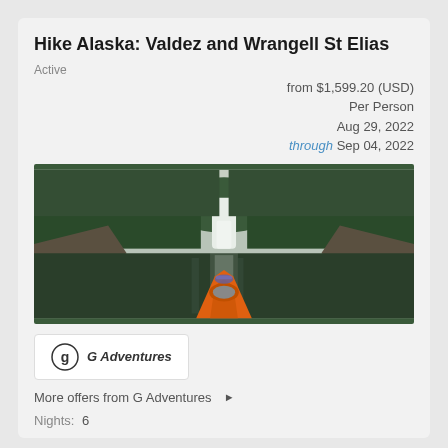Hike Alaska: Valdez and Wrangell St Elias
Active
from $1,599.20 (USD)
Per Person
Aug 29, 2022
through Sep 04, 2022
[Figure (photo): POV kayak on calm river approaching a waterfall, surrounded by evergreen forest and rocky cliffs in Alaska]
[Figure (logo): G Adventures logo: circular G icon with italic text 'G Adventures' on white background]
More offers from G Adventures ▶
Nights:  6